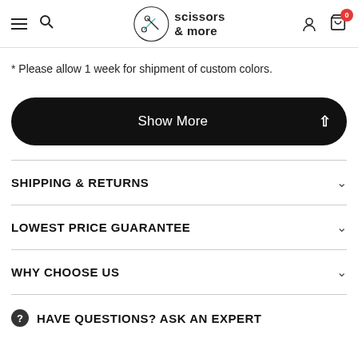scissors & more — navigation header with hamburger, search, logo, account, and cart icons
* Please allow 1 week for shipment of custom colors.
[Figure (screenshot): Black pill-shaped 'Show More' button with upward chevron on the right]
SHIPPING & RETURNS
LOWEST PRICE GUARANTEE
WHY CHOOSE US
HAVE QUESTIONS? ASK AN EXPERT